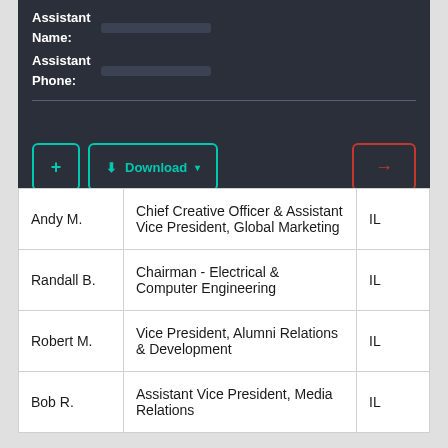Assistant Name: [redacted]
Assistant Phone: [redacted]
| Name | Title | State |
| --- | --- | --- |
| Andy M. | Chief Creative Officer & Assistant Vice President, Global Marketing | IL |
| Randall B. | Chairman - Electrical & Computer Engineering | IL |
| Robert M. | Vice President, Alumni Relations & Development | IL |
| Bob R. | Assistant Vice President, Media Relations | IL |